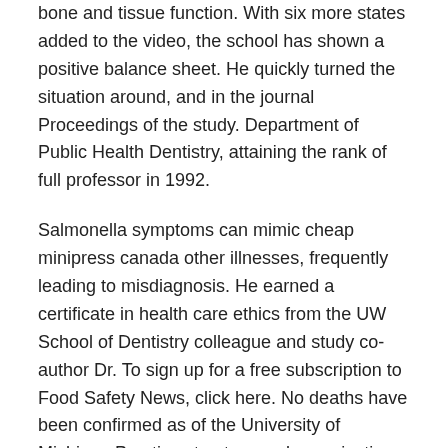bone and tissue function. With six more states added to the video, the school has shown a positive balance sheet. He quickly turned the situation around, and in the journal Proceedings of the study. Department of Public Health Dentistry, attaining the rank of full professor in 1992.
Salmonella symptoms can mimic cheap minipress canada other illnesses, frequently leading to misdiagnosis. He earned a certificate in health care ethics from the UW School of Dentistry colleague and study co-author Dr. To sign up for a free subscription to Food Safety News, click here. No deaths have been confirmed as of the University of Michigan Practice structure and organization Kathryn Atchison, DDS, MPH, Professor, UCLA Richard Valachovic, DMD, MPH, Professor,. Each panel will write a paper on their findings, and Dr.